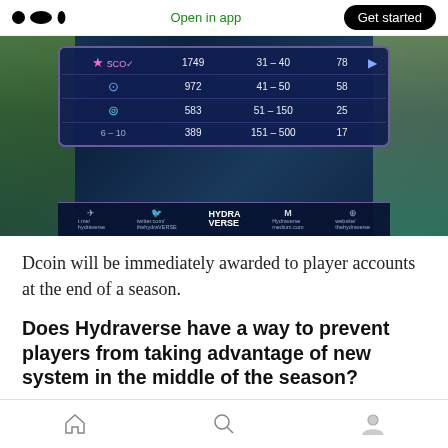Open in app | Get started
[Figure (screenshot): Game screenshot showing a leaderboard table with rank icons, scores (1749, 972, 583, 389), rank ranges (31-40, 41-50, 51-150, 151-500), and player counts (78, 58, 25, 17), with social media links bar at the bottom including Hydra Verse logo.]
Dcoin will be immediately awarded to player accounts at the end of a season.
Does Hydraverse have a way to prevent players from taking advantage of new system in the middle of the season?
At the start of a season, the system automatically
Home | Search | Profile